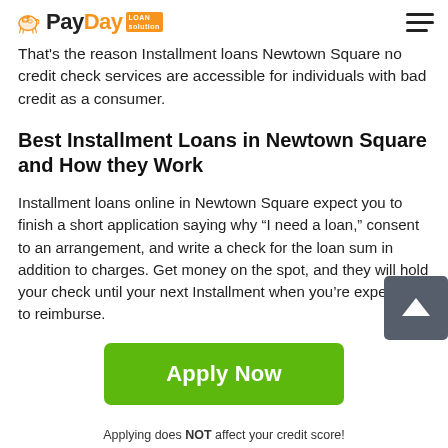PayDay Loan Solution
That's the reason Installment loans Newtown Square no credit check services are accessible for individuals with bad credit as a consumer.
Best Installment Loans in Newtown Square and How they Work
Installment loans online in Newtown Square expect you to finish a short application saying why “I need a loan,” consent to an arrangement, and write a check for the loan sum in addition to charges. Get money on the spot, and they will hold your check until your next Installment when you’re expected to reimburse.
[Figure (other): Green Apply Now button with text 'Apply Now']
Applying does NOT affect your credit score!
No credit check to apply.